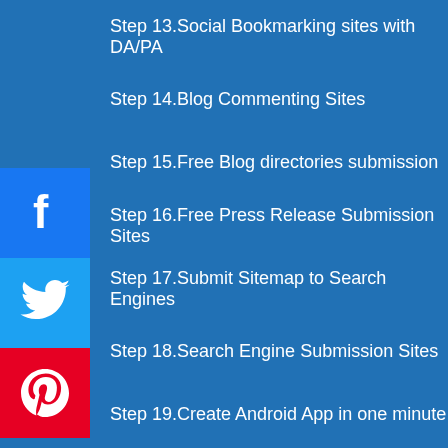Step 13.Social Bookmarking sites with DA/PA
Step 14.Blog Commenting Sites
Step 15.Free Blog directories submission
Step 16.Free Press Release Submission Sites
Step 17.Submit Sitemap to Search Engines
Step 18.Search Engine Submission Sites
Step 19.Create Android App in one minute
Step 20.App Submission Sites
Step 21.Monetize Your Blog